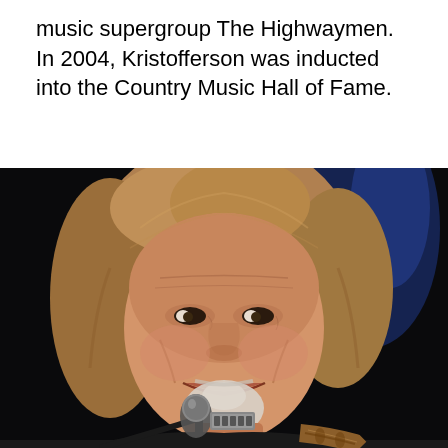music supergroup The Highwaymen. In 2004, Kristofferson was inducted into the Country Music Hall of Fame.
[Figure (photo): An older man with long gray-blond hair, wrinkles, and a white goatee smiling warmly at a microphone on stage. He is wearing a dark shirt and an ornate brown leather guitar strap. Stage lighting with blue tones in the background.]